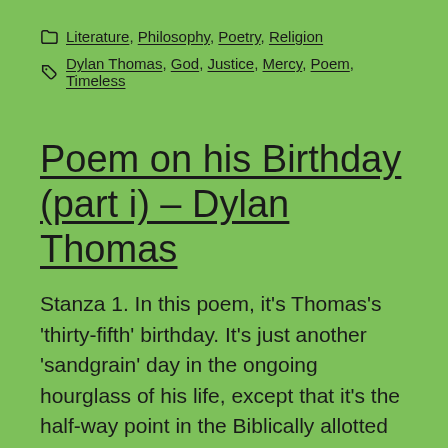Literature, Philosophy, Poetry, Religion
Dylan Thomas, God, Justice, Mercy, Poem, Timeless
Poem on his Birthday (part i) – Dylan Thomas
Stanza 1. In this poem, it's Thomas's 'thirty-fifth' birthday. It's just another 'sandgrain' day in the ongoing hourglass of his life, except that it's the half-way point in the Biblically allotted 'three score years and ten'. The 'mustardseed sun', however, the small, orange sun of late October, is more than three-quarters of the way along [...]